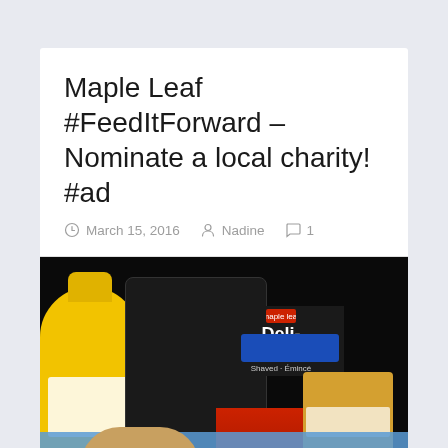Maple Leaf #FeedItForward – Nominate a local charity! #ad
March 15, 2016  Nadine  1
[Figure (photo): Photo of Maple Leaf Deli-Fresh deli meat package, a yellow mustard bottle, a block of cheese, and bread on a dark background with a blue strip at the bottom.]